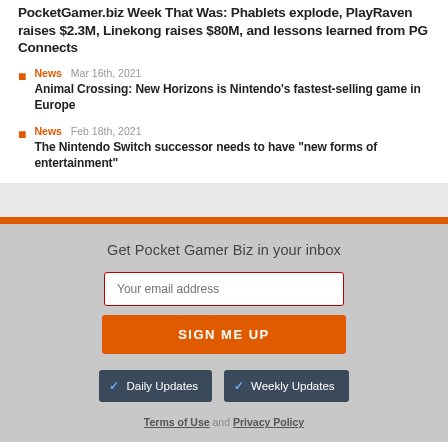PocketGamer.biz Week That Was: Phablets explode, PlayRaven raises $2.3M, Linekong raises $80M, and lessons learned from PG Connects
News  Mar 16th, 2021
Animal Crossing: New Horizons is Nintendo's fastest-selling game in Europe
News  Feb 18th, 2021
The Nintendo Switch successor needs to have "new forms of entertainment"
Get Pocket Gamer Biz in your inbox
Your email address
SIGN ME UP
Daily Updates
Weekly Updates
Terms of Use and Privacy Policy